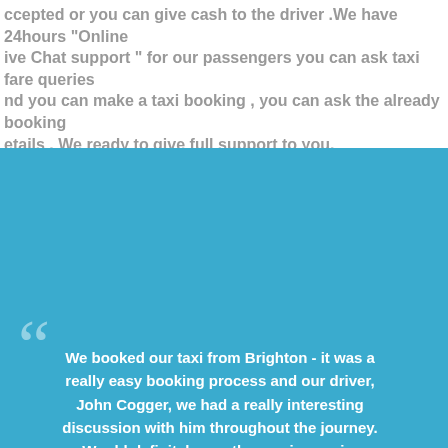ccepted or you can give cash to the driver .We have 24hours "Online ive Chat support " for our passengers you can ask taxi fare queries nd you can make a taxi booking , you can ask the already booking etails . We ready to give full support to you.
[Figure (infographic): Blue testimonial box with large quotation marks and a female avatar illustration. Quote text: We booked our taxi from Brighton - it was a really easy booking process and our driver, John Cogger, we had a really interesting discussion with him throughout the journey. Would definitely use the service again.]